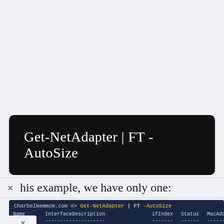[Figure (screenshot): Dark terminal/code block showing the command: Get-NetAdapter | FT -AutoSize on a black rounded rectangle background]
his example, we have only one:
[Figure (screenshot): PowerShell terminal output showing Get-NetAdapter | FT -AutoSize command and its result table with columns Name, InterfaceDescription, ifIndex, Status, MacAddress, LinkSpeed. One row: Ethernet, Microsoft Hyper-V Network Adapter, 6, Up, 00-15-5D-62-F4-55, 1 Gbps]